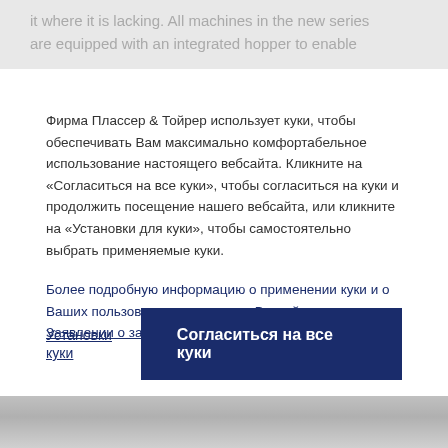it where it is lacking. All machines in the new series are equipped with an integrated hopper to enable
Фирма Плассер & Тойрер использует куки, чтобы обеспечивать Вам максимально комфортабельное использование настоящего вебсайта. Кликните на «Согласиться на все куки», чтобы согласиться на куки и продолжить посещение нашего вебсайта, или кликните на «Установки для куки», чтобы самостоятельно выбрать применяемые куки.
Более подробную информацию о применении куки и о Ваших пользовательских правах Вы найдете в нашем Заявлении о защите данных.
Установки куки
Согласиться на все куки
[Figure (photo): Bottom portion of a photo showing railway track ballast and rails, rendered in gray tones]